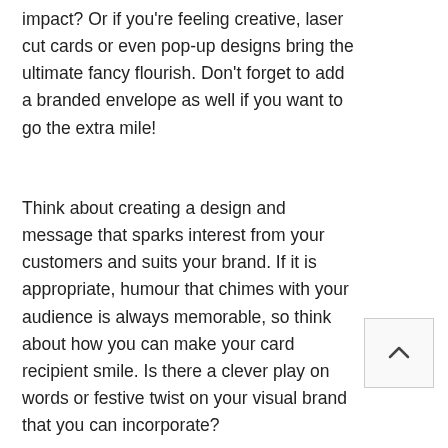impact? Or if you're feeling creative, laser cut cards or even pop-up designs bring the ultimate fancy flourish. Don't forget to add a branded envelope as well if you want to go the extra mile!
Think about creating a design and message that sparks interest from your customers and suits your brand. If it is appropriate, humour that chimes with your audience is always memorable, so think about how you can make your card recipient smile. Is there a clever play on words or festive twist on your visual brand that you can incorporate?